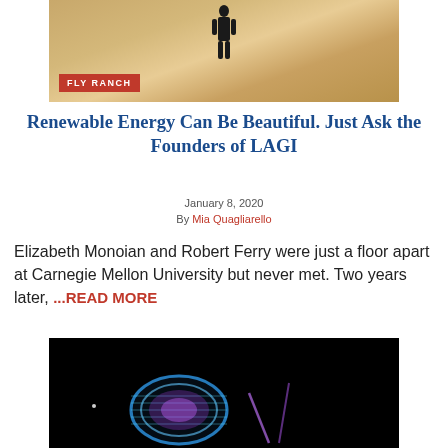[Figure (photo): A person in dark clothing standing on sandy desert dunes with a 'FLY RANCH' badge overlay in the lower left]
Renewable Energy Can Be Beautiful. Just Ask the Founders of LAGI
January 8, 2020
By Mia Quagliarello
Elizabeth Monoian and Robert Ferry were just a floor apart at Carnegie Mellon University but never met. Two years later, ...READ MORE
[Figure (photo): A glowing blue and purple artistic sculpture or art installation photographed at night against a black background]